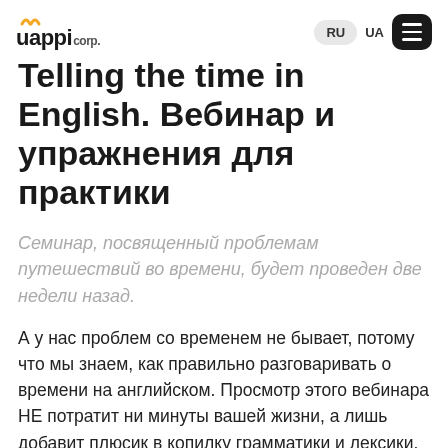uappi corp. RU UA [menu]
Telling the time in English. Вебинар и упражнения для практики
Семинар, посвященный проблемам путешествий во времени, будет проведен две недели назад.
А у нас проблем со временем не бывает, потому что мы знаем, как правильно разговаривать о времени на английском. Просмотр этого вебинара НЕ потратит ни минуты вашей жизни, а лишь добавит плюсик в копилку грамматики и лексики.